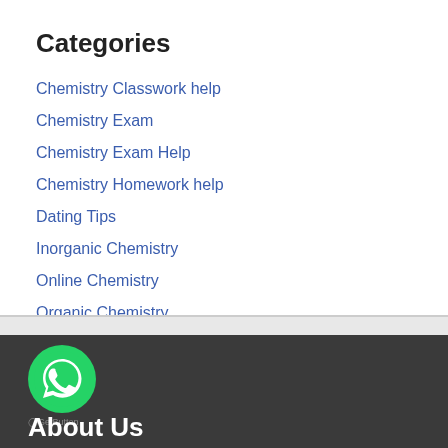Categories
Chemistry Classwork help
Chemistry Exam
Chemistry Exam Help
Chemistry Homework help
Dating Tips
Inorganic Chemistry
Online Chemistry
Organic Chemistry
[Figure (logo): WhatsApp GetButton icon - green circular WhatsApp logo with speech bubble]
About Us